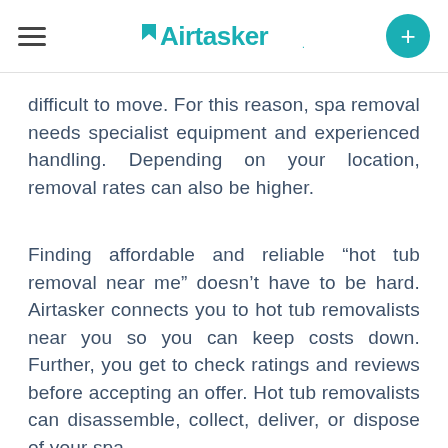Airtasker
difficult to move. For this reason, spa removal needs specialist equipment and experienced handling. Depending on your location, removal rates can also be higher.
Finding affordable and reliable “hot tub removal near me” doesn’t have to be hard. Airtasker connects you to hot tub removalists near you so you can keep costs down. Further, you get to check ratings and reviews before accepting an offer. Hot tub removalists can disassemble, collect, deliver, or dispose of your spa.